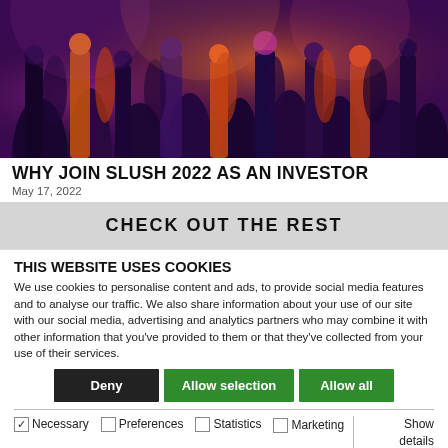[Figure (photo): Crowd of people at an event/conference with purple and orange lighting]
WHY JOIN SLUSH 2022 AS AN INVESTOR
May 17, 2022
CHECK OUT THE REST
THIS WEBSITE USES COOKIES
We use cookies to personalise content and ads, to provide social media features and to analyse our traffic. We also share information about your use of our site with our social media, advertising and analytics partners who may combine it with other information that you've provided to them or that they've collected from your use of their services.
Deny | Allow selection | Allow all
Necessary | Preferences | Statistics | Marketing | Show details